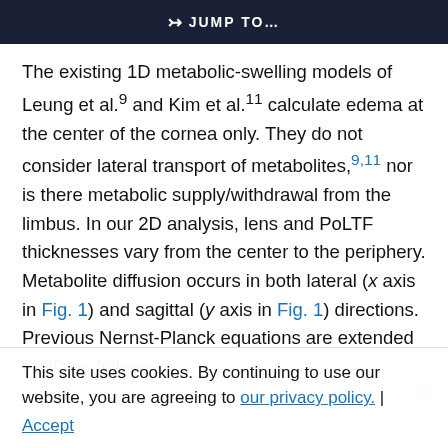JUMP TO...
The existing 1D metabolic-swelling models of Leung et al.9 and Kim et al.11 calculate edema at the center of the cornea only. They do not consider lateral transport of metabolites,9,11 nor is there metabolic supply/withdrawal from the limbus. In our 2D analysis, lens and PoLTF thicknesses vary from the center to the periphery. Metabolite diffusion occurs in both lateral (x axis in Fig. 1) and sagittal (y axis in Fig. 1) directions. Previous Nernst-Planck equations are extended to 2D as follows
This site uses cookies. By continuing to use our website, you are agreeing to our privacy policy. Accept